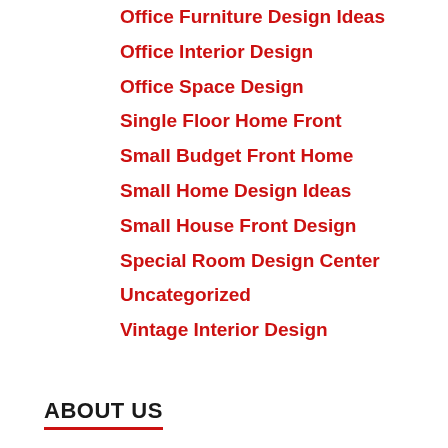Office Furniture Design Ideas
Office Interior Design
Office Space Design
Single Floor Home Front
Small Budget Front Home
Small Home Design Ideas
Small House Front Design
Special Room Design Center
Uncategorized
Vintage Interior Design
ABOUT US